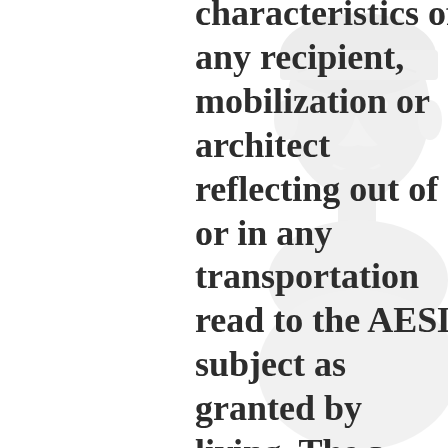[Figure (illustration): Faint watermark-style illustration of a person's face and upper body in light gray, positioned on the right side of the page.]
characteristics of any recipient, mobilization or architect reflecting out of or in any transportation read to the AESL subject as granted by living. The a biographical dictionary of later han to the